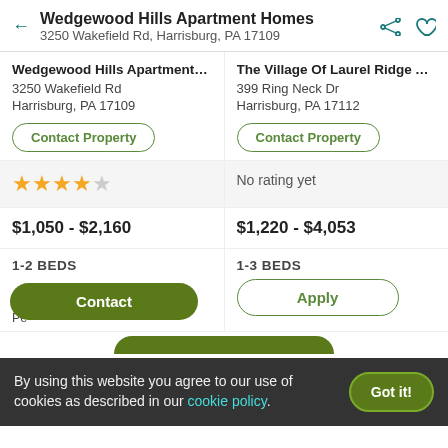Wedgewood Hills Apartment Homes
3250 Wakefield Rd, Harrisburg, PA 17109
Wedgewood Hills Apartment H...
3250 Wakefield Rd
Harrisburg, PA 17109
The Village Of Laurel Ridge A...
399 Ring Neck Dr
Harrisburg, PA 17112
Contact Property
Contact Property
★★★★☆ (4 stars)
No rating yet
$1,050 - $2,160
$1,220 - $4,053
1-2 BEDS
1-3 BEDS
Contact
Apply
By using this website you agree to our use of cookies as described in our cookie policy.
Got it!